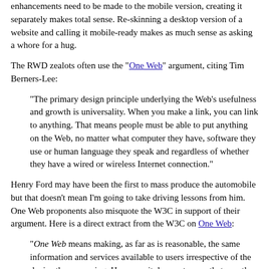enhancements need to be made to the mobile version, creating it separately makes total sense. Re-skinning a desktop version of a website and calling it mobile-ready makes as much sense as asking a whore for a hug.
The RWD zealots often use the "One Web" argument, citing Tim Berners-Lee:
"The primary design principle underlying the Web's usefulness and growth is universality. When you make a link, you can link to anything. That means people must be able to put anything on the Web, no matter what computer they have, software they use or human language they speak and regardless of whether they have a wired or wireless Internet connection."
Henry Ford may have been the first to mass produce the automobile but that doesn't mean I'm going to take driving lessons from him. One Web proponents also misquote the W3C in support of their argument. Here is a direct extract from the W3C on One Web:
"One Web means making, as far as is reasonable, the same information and services available to users irrespective of the device they are using. However, it does not mean that exactly the same information is available in exactly the same representation across all devices. The context of mobile